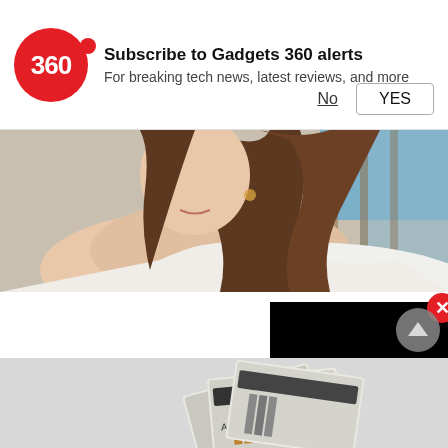[Figure (screenshot): Gadgets 360 notification subscription prompt with red circular logo showing '360', text 'Subscribe to Gadgets 360 alerts / For breaking tech news, latest reviews, and more', with 'No' and 'YES' buttons]
[Figure (photo): Close-up photo of a woman (Divyanka Tripathi) with long brown hair, wearing white, with a blue background visible]
Divyanka Tripathi's Thai Indulgence Will Make You Drool; See Pic
Divyanka was seen having a yummy ra it looks so delicious that it will make yo that goodness.
Food
[Figure (screenshot): Embedded video player overlay with black background and red circular play button in center, with red X close button in upper right]
[Figure (photo): Bottom portion showing folded money/currency bills advertisement]